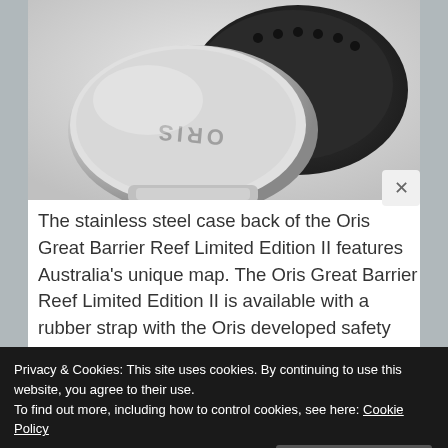[Figure (photo): Close-up photo of the stainless steel case back of an Oris watch with a dark rubber strap, showing the ORIS engraving on the clasp]
The stainless steel case back of the Oris Great Barrier Reef Limited Edition II features Australia's unique map. The Oris Great Barrier Reef Limited Edition II is available with a rubber strap with the Oris developed safety anchor and quick adjustment
Privacy & Cookies: This site uses cookies. By continuing to use this website, you agree to their use.
To find out more, including how to control cookies, see here: Cookie Policy
Close and accept
[Figure (photo): Partial view of watch at the bottom of the page]